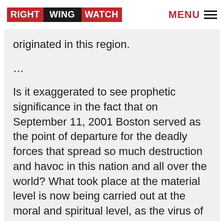RIGHT WING WATCH | MENU
originated in this region.
...
Is it exaggerated to see prophetic significance in the fact that on September 11, 2001 Boston served as the point of departure for the deadly forces that spread so much destruction and havoc in this nation and all over the world? What took place at the material level is now being carried out at the moral and spiritual level, as the virus of homosexuality and gay marriage begins to spread dramatically all over this nation